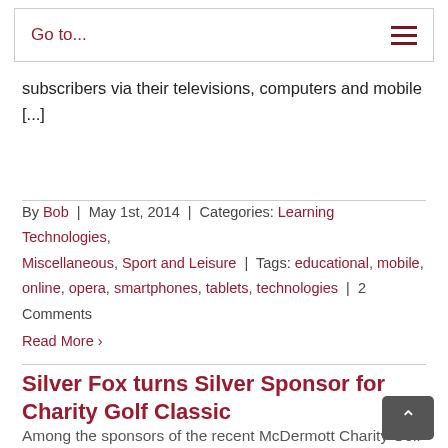Go to...
subscribers via their televisions, computers and mobile [...]
By Bob | May 1st, 2014 | Categories: Learning Technologies, Miscellaneous, Sport and Leisure | Tags: educational, mobile, online, opera, smartphones, tablets, technologies | 2 Comments
Read More >
Silver Fox turns Silver Sponsor for Charity Golf Classic
Among the sponsors of the recent McDermott Charity Golf Classic, held in Dubai, was Silver Fox, a leading UK